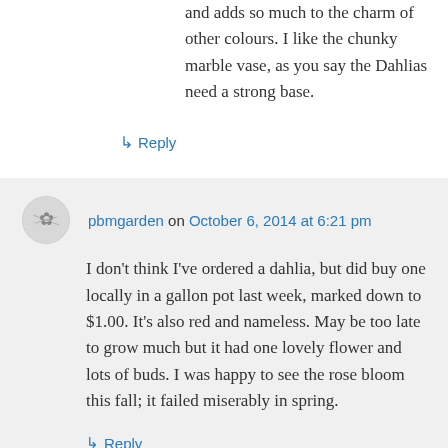and adds so much to the charm of other colours. I like the chunky marble vase, as you say the Dahlias need a strong base.
↳ Reply
pbmgarden on October 6, 2014 at 6:21 pm
I don't think I've ordered a dahlia, but did buy one locally in a gallon pot last week, marked down to $1.00. It's also red and nameless. May be too late to grow much but it had one lovely flower and lots of buds. I was happy to see the rose bloom this fall; it failed miserably in spring.
↳ Reply